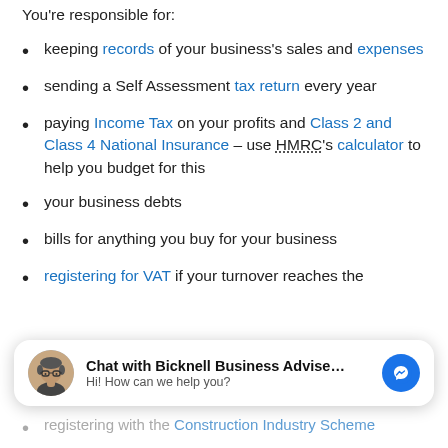You're responsible for:
keeping records of your business's sales and expenses
sending a Self Assessment tax return every year
paying Income Tax on your profits and Class 2 and Class 4 National Insurance – use HMRC's calculator to help you budget for this
your business debts
bills for anything you buy for your business
registering for VAT if your turnover reaches the
[Figure (other): Chat widget overlay: 'Chat with Bicknell Business Advise...' with avatar photo of person with glasses, messenger icon, and subtext 'Hi! How can we help you?']
registering with the Construction Industry Scheme